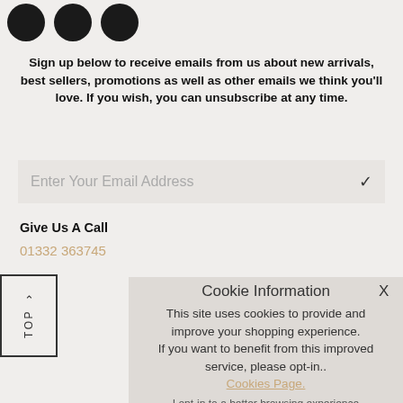[Figure (logo): Three dark circular social media icon buttons at top left]
Sign up below to receive emails from us about new arrivals, best sellers, promotions as well as other emails we think you'll love. If you wish, you can unsubscribe at any time.
Enter Your Email Address
Give Us A Call
01332 363745
TOP
Cookie Information
This site uses cookies to provide and improve your shopping experience. If you want to benefit from this improved service, please opt-in..
Cookies Page.
I opt-in to a better browsing experience
Accept Cookies
Contact Us